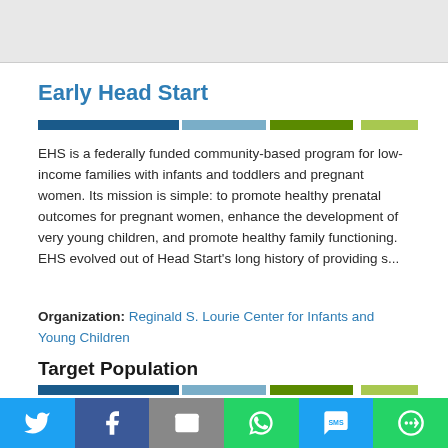[Figure (other): Gray top bar area (partial page header image)]
Early Head Start
[Figure (infographic): Horizontal multi-color segmented bar: dark blue, light blue, dark green, light green segments]
EHS is a federally funded community-based program for low-income families with infants and toddlers and pregnant women. Its mission is simple: to promote healthy prenatal outcomes for pregnant women, enhance the development of very young children, and promote healthy family functioning. EHS evolved out of Head Start's long history of providing s...
Organization: Reginald S. Lourie Center for Infants and Young Children
Target Population
[Figure (infographic): Horizontal multi-color segmented bar: dark blue, light blue, dark green, light green segments]
[Figure (infographic): Social sharing bar with Twitter, Facebook, Email, WhatsApp, SMS, and More buttons]